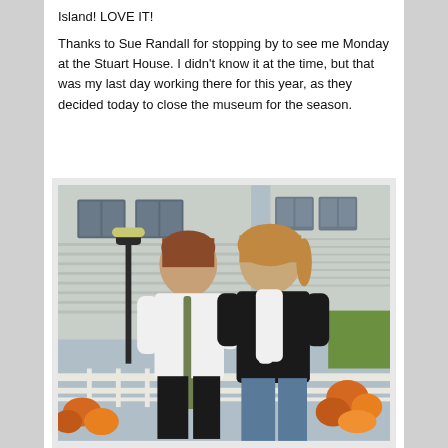Island!  LOVE IT!
Thanks to Sue Randall for stopping by to see me Monday at the Stuart House.  I didn't know it at the time, but that was my last day working there for this year, as they decided today to close the museum for the season.
[Figure (photo): Two women standing outside in front of a white building with siding. Left woman wears a white t-shirt and carries a green patterned purse; right woman wears a black top with a white scarf. Fall decorations with orange leaves visible. Outdoor fall setting.]